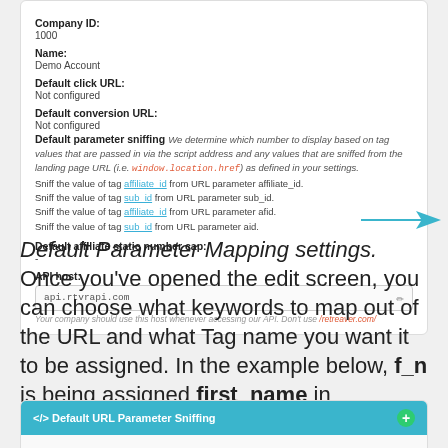Company ID:
1000
Name:
Demo Account
Default click URL:
Not configured
Default conversion URL:
Not configured
Default parameter sniffing We determine which number to display based on tag values that are passed in via the script address and any values that are sniffed from the landing page URL (i.e. window.location.href) as defined in your settings.
Sniff the value of tag affiliate_id from URL parameter affiliate_id.
Sniff the value of tag sub_id from URL parameter sub_id.
Sniff the value of tag affiliate_id from URL parameter afid.
Sniff the value of tag sub_id from URL parameter aid.
Default affiliate static number cap:
-
API host:
api.rtvrapi.com
Your company should use this host whenever accessing our API. Don't use /retreaver.com/
Default Parameter Mapping settings. Once you've opened the edit screen, you can choose what keywords to map out of the URL and what Tag name you want it to be assigned. In the example below, f_n is being assigned first_name in Retreaver.
[Figure (screenshot): Default URL Parameter Sniffing panel header with teal background and green plus button]